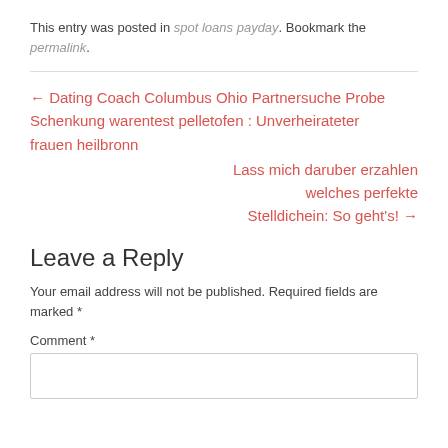This entry was posted in spot loans payday. Bookmark the permalink.
← Dating Coach Columbus Ohio Partnersuche Probe Schenkung warentest pelletofen : Unverheirateter frauen heilbronn
Lass mich daruber erzahlen welches perfekte Stelldichein: So geht's! →
Leave a Reply
Your email address will not be published. Required fields are marked *
Comment *